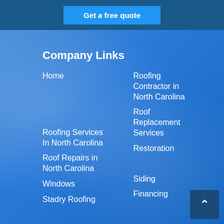Get a free quote
Company Links
Home
Roofing Contractor in North Carolina
Roofing Services In North Carolina
Roof Replacement Services
Roof Repairs in North Carolina
Restoration
Windows
Siding
Stadry Roofing
Financing